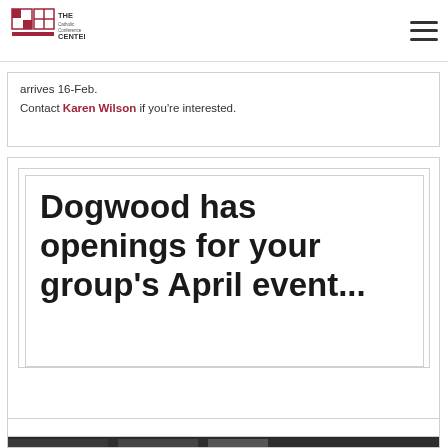The Catholic Conference Center
arrives 16-Feb.
Contact Karen Wilson if you're interested.
Dogwood has openings for your group's April event...
[Figure (photo): Dark colored photo at bottom of page, partially visible]